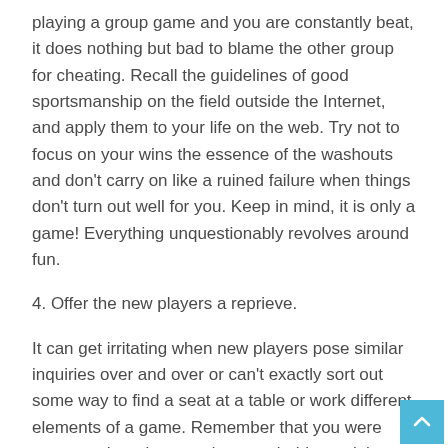playing a group game and you are constantly beat, it does nothing but bad to blame the other group for cheating. Recall the guidelines of good sportsmanship on the field outside the Internet, and apply them to your life on the web. Try not to focus on your wins the essence of the washouts and don't carry on like a ruined failure when things don't turn out well for you. Keep in mind, it is only a game! Everything unquestionably revolves around fun.
4. Offer the new players a reprieve.
It can get irritating when new players pose similar inquiries over and over or can't exactly sort out some way to find a seat at a table or work different elements of a game. Remember that you were once another player and you probably won't have consistently done things accurately. Rather than accepting somebody is a nitwit, assist them